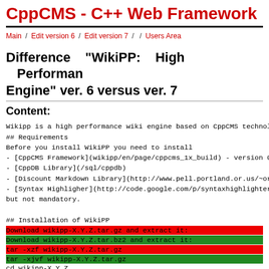CppCMS - C++ Web Framework
Main / Edit version 6 / Edit version 7 / / Users Area
Difference "WikiPP: High Performance Engine" ver. 6 versus ver. 7
Content:
Wikipp is a high performance wiki engine based on CppCMS technology
## Requirements
Before you install WikiPP you need to install
- [CppCMS Framework](wikipp/en/page/cppcms_1x_build) - version 0.999
- [CppDB Library](/sql/cppdb)
- [Discount Markdown Library](http://www.pell.portland.or.us/~orc/Co
- [Syntax Highligher](http://code.google.com/p/syntaxhighlighter/)
but not mandatory.
## Installation of WikiPP
Download wikipp-X.Y.Z.tar.gz and extract it: (red highlight)
Download wikipp-X.Y.Z.tar.bz2 and extract it: (green highlight)
tar -xzf wikipp-X.Y.Z.tar.gz (red highlight)
tar -xjvf wikipp-X.Y.Z.tar.gz (green highlight)
cd wikipp-X.Y.Z